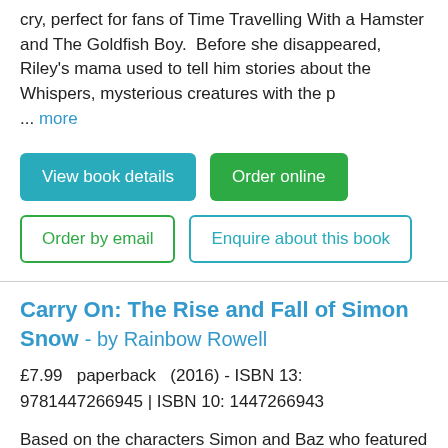cry, perfect for fans of Time Travelling With a Hamster and The Goldfish Boy.  Before she disappeared, Riley's mama used to tell him stories about the Whispers, mysterious creatures with the p ... more
View book details
Order online
Order by email
Enquire about this book
Carry On: The Rise and Fall of Simon Snow - by Rainbow Rowell
£7.99   paperback   (2016) - ISBN 13: 9781447266945 | ISBN 10: 1447266943
Based on the characters Simon and Baz who featured in Rainbow Rowell's bestselling Fangirl, Carry On is a ghost story, a love story, a mystery and